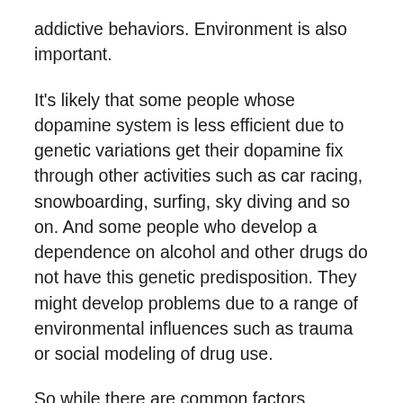addictive behaviors. Environment is also important.
It's likely that some people whose dopamine system is less efficient due to genetic variations get their dopamine fix through other activities such as car racing, snowboarding, surfing, sky diving and so on. And some people who develop a dependence on alcohol and other drugs do not have this genetic predisposition. They might develop problems due to a range of environmental influences such as trauma or social modeling of drug use.
So while there are common factors associated with personality that predict addiction, there is no personality type that will cause someone to partake in excessive behaviours. Addiction has multiple causes